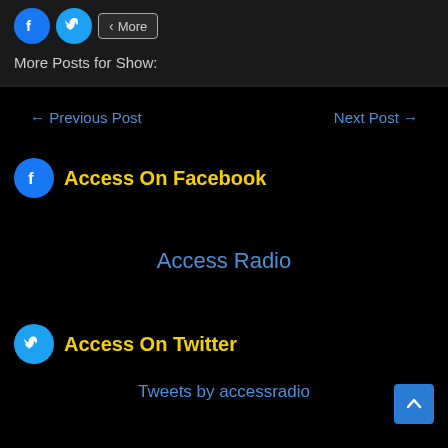[Figure (screenshot): Social sharing buttons: Facebook icon, Twitter icon, and a 'More' share button]
More Posts for Show:
← Previous Post    Next Post →
Access On Facebook
Access Radio
Access On Twitter
Tweets by accessradio